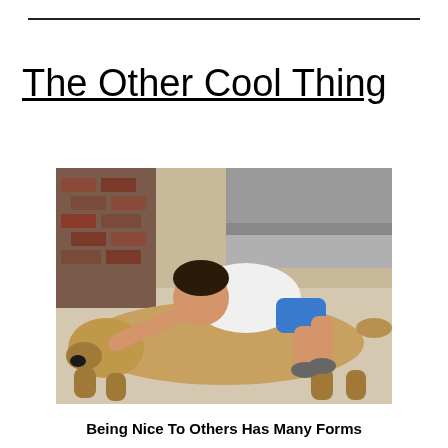The Other Cool Thing
[Figure (photo): A young boy in a white shirt and blue shorts lying on top of a large yellow/tan dog on the floor, hugging it. Background shows a couch, carpet, and brick wall.]
Being Nice To Others Has Many Forms